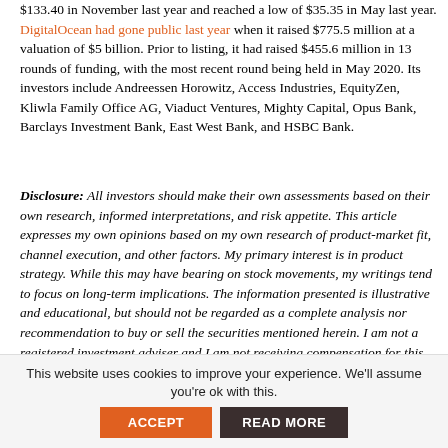$133.40 in November last year and reached a low of $35.35 in May last year. DigitalOcean had gone public last year when it raised $775.5 million at a valuation of $5 billion. Prior to listing, it had raised $455.6 million in 13 rounds of funding, with the most recent round being held in May 2020. Its investors include Andreessen Horowitz, Access Industries, EquityZen, Kliwla Family Office AG, Viaduct Ventures, Mighty Capital, Opus Bank, Barclays Investment Bank, East West Bank, and HSBC Bank.
Disclosure: All investors should make their own assessments based on their own research, informed interpretations, and risk appetite. This article expresses my own opinions based on my own research of product-market fit, channel execution, and other factors. My primary interest is in product strategy. While this may have bearing on stock movements, my writings tend to focus on long-term implications. The information presented is illustrative and educational, but should not be regarded as a complete analysis nor recommendation to buy or sell the securities mentioned herein. I am not a registered investment adviser and I am not receiving compensation for this article.
This website uses cookies to improve your experience. We'll assume you're ok with this. ACCEPT READ MORE